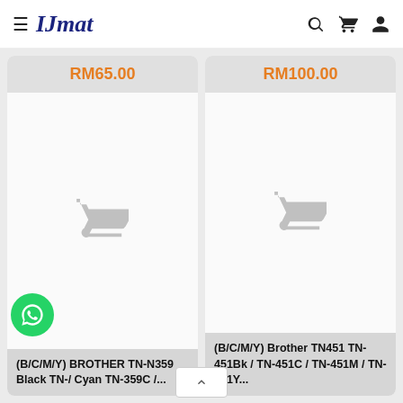IJmat — navigation header with logo, search, cart, and user icons
RM65.00
RM100.00
[Figure (screenshot): Product card placeholder with shopping cart icon]
(B/C/M/Y) BROTHER TN-N359 Black TN-/ Cyan TN-359C /...
[Figure (screenshot): Product card placeholder with shopping cart icon]
(B/C/M/Y) Brother TN451 TN-451Bk / TN-451C / TN-451M / TN-451Y...